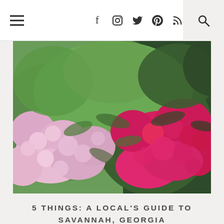Navigation bar with hamburger menu, social icons (facebook, instagram, twitter, pinterest, rss), and search
[Figure (photo): Colorful azalea flowers in bloom — pink and bright magenta/red blossoms with green foliage, outdoor garden setting]
5 THINGS: A LOCAL'S GUIDE TO SAVANNAH, GEORGIA